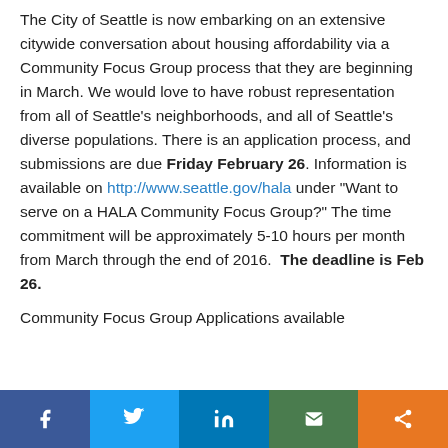The City of Seattle is now embarking on an extensive citywide conversation about housing affordability via a Community Focus Group process that they are beginning in March. We would love to have robust representation from all of Seattle's neighborhoods, and all of Seattle's diverse populations. There is an application process, and submissions are due Friday February 26. Information is available on http://www.seattle.gov/hala under "Want to serve on a HALA Community Focus Group?" The time commitment will be approximately 5-10 hours per month from March through the end of 2016.  The deadline is Feb 26.
Community Focus Group Applications available
[Figure (infographic): Social media share bar with icons for Facebook, Twitter, LinkedIn, Email, and Share]